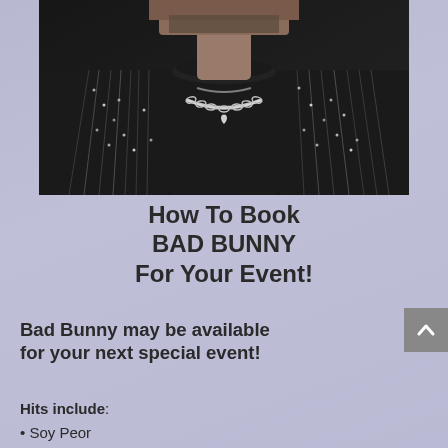[Figure (photo): Photo of Bad Bunny wearing a black turtleneck with a silver chain necklace with a heart pendant, and a bedazzled/beaded jacket. The image is cropped at the chin level showing his neck and torso area against a dark background.]
How To Book BAD BUNNY For Your Event!
Bad Bunny may be available for your next special event!
Hits include:
Soy Peor